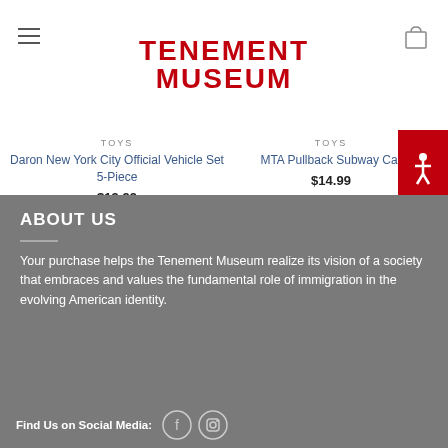[Figure (logo): Tenement Museum logo with red bold text]
TOYS
Daron New York City Official Vehicle Set 5-Piece
$19.99
TOYS
MTA Pullback Subway Car
$14.99
ABOUT US
Your purchase helps the Tenement Museum realize its vision of a society that embraces and values the fundamental role of immigration in the evolving American identity.
Find Us on Social Media: